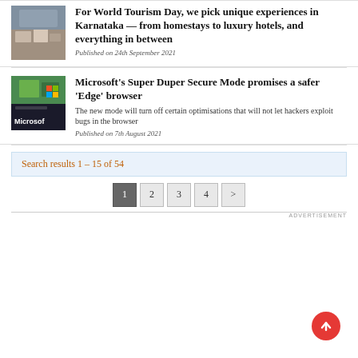[Figure (photo): Interior/lounge area photo, partially cropped]
For World Tourism Day, we pick unique experiences in Karnataka — from homestays to luxury hotels, and everything in between
Published on 24th September 2021
[Figure (photo): Microsoft office exterior with logo signage and greenery]
Microsoft's Super Duper Secure Mode promises a safer 'Edge' browser
The new mode will turn off certain optimisations that will not let hackers exploit bugs in the browser
Published on 7th August 2021
Search results 1 – 15 of 54
1 2 3 4 >
ADVERTISEMENT